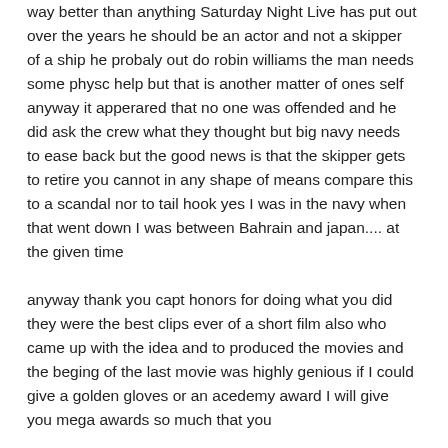way better than anything Saturday Night Live has put out over the years he should be an actor and not a skipper of a ship he probaly out do robin williams the man needs some physc help but that is another matter of ones self anyway it apperared that no one was offended and he did ask the crew what they thought but big navy needs to ease back but the good news is that the skipper gets to retire you cannot in any shape of means compare this to a scandal nor to tail hook yes I was in the navy when that went down I was between Bahrain and japan.... at the given time

anyway thank you capt honors for doing what you did they were the best clips ever of a short film also who came up with the idea and to produced the movies and the beging of the last movie was highly genious if I could give a golden gloves or an acedemy award I will give you mega awards so much that you